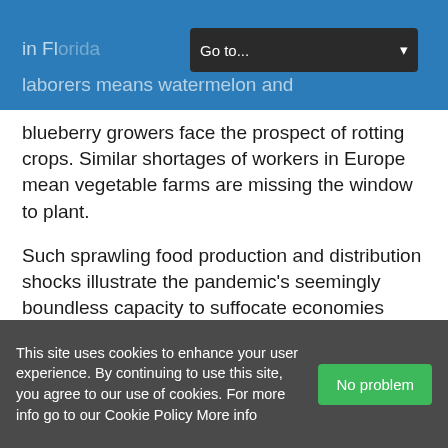Go to...
laborers means watermelon and blueberry growers face the prospect of rotting crops. Similar shortages of workers in Europe mean vegetable farms are missing the window to plant.
Such sprawling food production and distribution shocks illustrate the pandemic's seemingly boundless capacity to suffocate economies worldwide and upend even the most essential business and consumer markets. There has been limited disruption so far to supplies of staple grains such as rice and wheat, although problems with planting and logistics are
This site uses cookies to enhance your user experience. By continuing to use this site, you agree to our use of cookies. For more info go to our Cookie Policy More info